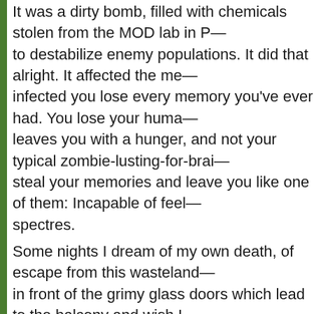It was a dirty bomb, filled with chemicals stolen from the MOD lab in P— to destabilize enemy populations. It did that alright. It affected the me— infected you lose every memory you've ever had. You lose your huma— leaves you with a hunger, and not your typical zombie-lusting-for-brai— steal your memories and leave you like one of them: Incapable of feel— spectres. Some nights I dream of my own death, of escape from this wasteland— in front of the grimy glass doors which lead to the balcony and wish I — myself over. I wouldn't be the first. What do I have to live for any more— about is dead, or worse. But I don't have the strength. Instead I force — look for him. I had been waiting for some time. I don't how long. Time is meaningle— dark, other times the light hurts my eyes. I don't feel heat or cold. I do— Except when I feed on them, then I feel alive. Then I feel everything ju— then it fades and I am so hungry again. It is light now. The street I wait on is deserted. The occasional gust of— around me. There is a reflection in the glass that sticks jaggedly out fr— window. I don't know who it is. The face I see in the faint reflection co— There are some symbols scratched into my left arm. The wounds hav—